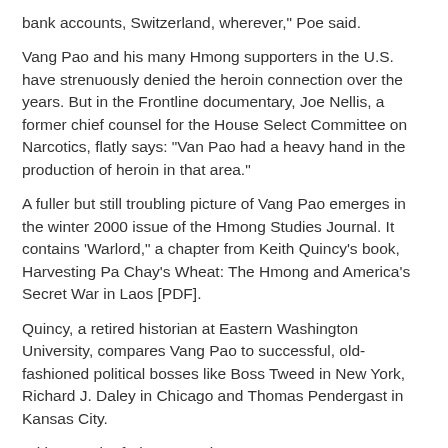bank accounts, Switzerland, wherever," Poe said.
Vang Pao and his many Hmong supporters in the U.S. have strenuously denied the heroin connection over the years. But in the Frontline documentary, Joe Nellis, a former chief counsel for the House Select Committee on Narcotics, flatly says: "Van Pao had a heavy hand in the production of heroin in that area."
A fuller but still troubling picture of Vang Pao emerges in the winter 2000 issue of the Hmong Studies Journal. It contains 'Warlord," a chapter from Keith Quincy's book, Harvesting Pa Chay's Wheat: The Hmong and America's Secret War in Laos [PDF].
Quincy, a retired historian at Eastern Washington University, compares Vang Pao to successful, old-fashioned political bosses like Boss Tweed in New York, Richard J. Daley in Chicago and Thomas Pendergast in Kansas City.
With a touch of Al Capone, it seems.